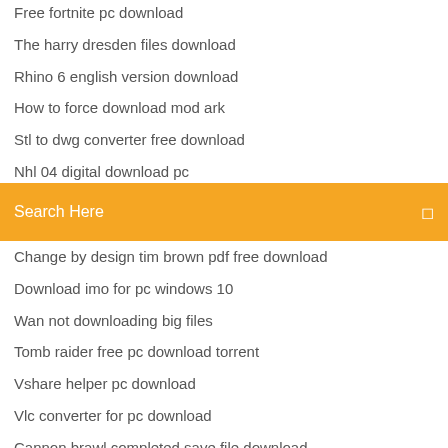Free fortnite pc download
The harry dresden files download
Rhino 6 english version download
How to force download mod ark
Stl to dwg converter free download
Nhl 04 digital download pc
Computer wont download drivers from usb
Search Here
Change by design tim brown pdf free download
Download imo for pc windows 10
Wan not downloading big files
Tomb raider free pc download torrent
Vshare helper pc download
Vlc converter for pc download
Cannon brawl completed save file download
Hp dvd driver download windows 8.1
Popcorn time app downloaded movies
Adobe scan to pdf free download